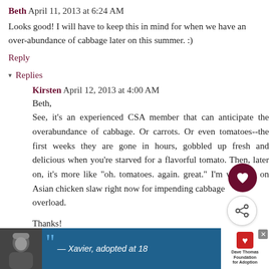Beth  April 11, 2013 at 6:24 AM
Looks good! I will have to keep this in mind for when we have an over-abundance of cabbage later on this summer. :)
Reply
▾ Replies
Kirsten  April 12, 2013 at 4:00 AM
Beth,
See, it's an experienced CSA member that can anticipate the overabundance of cabbage. Or carrots. Or even tomatoes--the first weeks they are gone in hours, gobbled up fresh and delicious when you're starved for a flavorful tomato. Then, later on, it's more like "oh. tomatoes. again. great." I'm working on Asian chicken slaw right now for impending cabbage overload.

Thanks!
— Xavier, adopted at 18